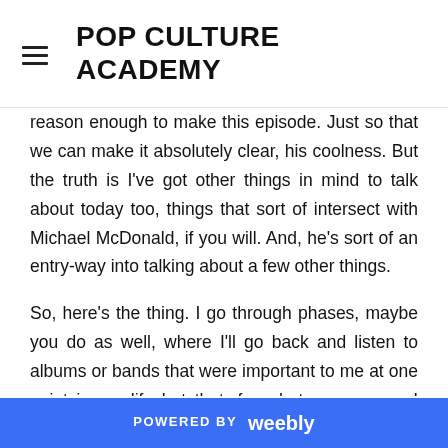POP CULTURE ACADEMY
reason enough to make this episode. Just so that we can make it absolutely clear, his coolness. But the truth is I've got other things in mind to talk about today too, things that sort of intersect with Michael McDonald, if you will. And, he's sort of an entry-way into talking about a few other things.
So, here's the thing. I go through phases, maybe you do as well, where I'll go back and listen to albums or bands that were important to me at one point in my life but that, for whatever reason, I haven't listened
POWERED BY weebly